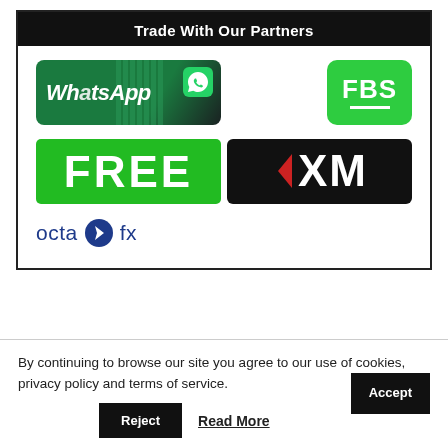Trade With Our Partners
[Figure (logo): WhatsApp logo with green background and italic white text]
[Figure (logo): FBS logo with green background, white bold text and underline]
[Figure (logo): FREE logo with green background and white bold text]
[Figure (logo): XM trading logo with black background and white/red XM text]
[Figure (logo): OctaFX logo with blue text and arrow icon]
By continuing to browse our site you agree to our use of cookies, privacy policy and terms of service.
Accept
Reject
Read More